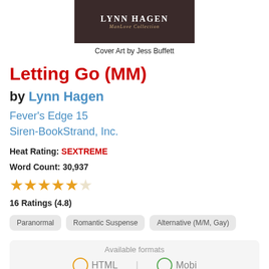[Figure (illustration): Book cover image with dark background showing LYNN HAGEN ManLove Collection]
Cover Art by Jess Buffett
Letting Go (MM)
by Lynn Hagen
Fever's Edge 15
Siren-BookStrand, Inc.
Heat Rating: SEXTREME
Word Count: 30,937
16 Ratings (4.8)
Paranormal
Romantic Suspense
Alternative (M/M, Gay)
Available formats
HTML | Mobi